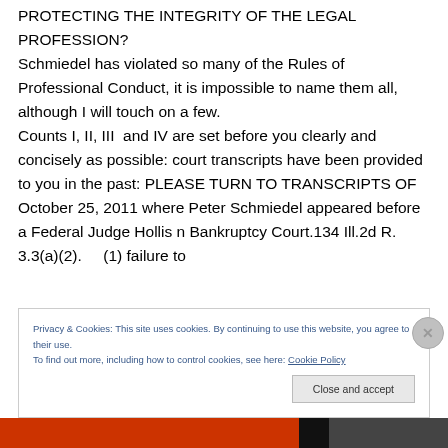PROTECTING THE INTEGRITY OF THE LEGAL PROFESSION? Schmiedel has violated so many of the Rules of Professional Conduct, it is impossible to name them all, although I will touch on a few. Counts I, II, III and IV are set before you clearly and concisely as possible: court transcripts have been provided to you in the past: PLEASE TURN TO TRANSCRIPTS OF October 25, 2011 where Peter Schmiedel appeared before a Federal Judge Hollis n Bankruptcy Court.134 Ill.2d R. 3.3(a)(2).    (1) failure to
Privacy & Cookies: This site uses cookies. By continuing to use this website, you agree to their use.
To find out more, including how to control cookies, see here: Cookie Policy
Close and accept